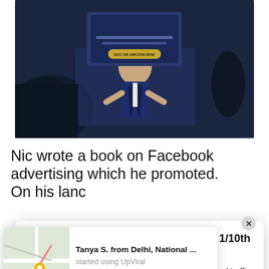[Figure (screenshot): Screenshot of a video/sales page featuring a man in a suit on stage with audience, with a call-to-action button visible]
Nic wrote a book on Facebook advertising which he promoted. On his lanc
This 
the b
Lear
[Figure (screenshot): Popup overlay with title 'Grow your email list exponentially at 1/10th of the cost.' and body text 'Try UpViral risk-free for 14 days and start getting referral traffic into your business today!']
[Figure (screenshot): Notification toast showing a Google Maps thumbnail with text: 'Tanya S. from Delhi, National ...' 'started using UpViral' '44 minutes ago']
[Figure (screenshot): Blue CTA button partially visible behind toast]